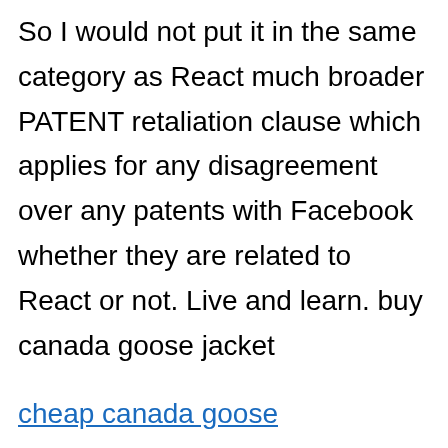So I would not put it in the same category as React much broader PATENT retaliation clause which applies for any disagreement over any patents with Facebook whether they are related to React or not. Live and learn. buy canada goose jacket
cheap canada goose https://www.gooseoutletvip.com cheap canada goose canada goose coats on sale Last month the embassy said China